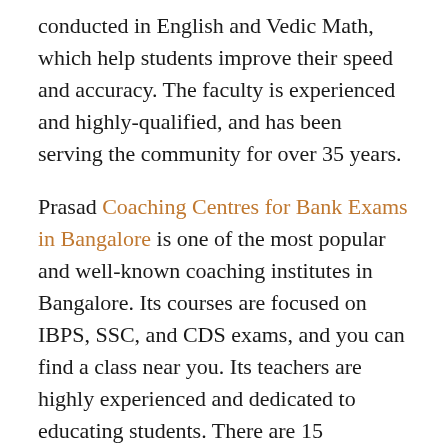conducted in English and Vedic Math, which help students improve their speed and accuracy. The faculty is experienced and highly-qualified, and has been serving the community for over 35 years.
Prasad Coaching Centres for Bank Exams in Bangalore is one of the most popular and well-known coaching institutes in Bangalore. Its courses are focused on IBPS, SSC, and CDS exams, and you can find a class near you. Its teachers are highly experienced and dedicated to educating students. There are 15 feedbacks on this institution with 100% feedback.
Prasad'S BANKING SSC & CDS INSTITUTION in Bangalore is a top-notch institution that offers coaching for the premier competitive exams. The institute provides quality education and Vedic Mathematics, which is the basis for preparing for the IBPS SBI examination. They